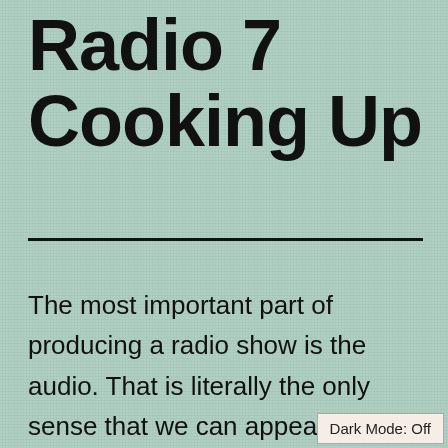Radio 7 Cooking Up
The most important part of producing a radio show is the audio. That is literally the only sense that we can appeal to. So, it is very important that audio is produced in a way that is cohesive with our story and illus...
Dark Mode: Off